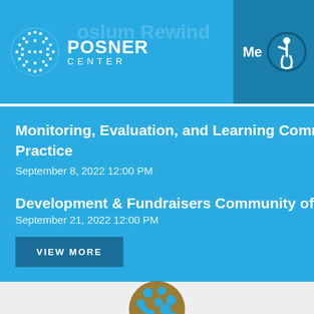Posner Center
Monitoring, Evaluation, and Learning Community of Practice
September 8, 2022 12:00 PM
Development & Fundraisers Community of Practice
September 21, 2022 12:00 PM
VIEW MORE
[Figure (logo): Posner Center globe logo in brown and teal colors]